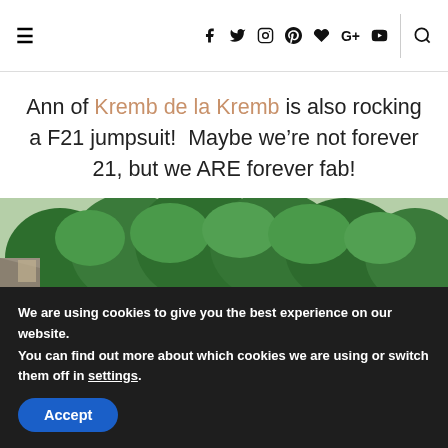≡ f t ⊙ ⊕ ♥ G+ ▶ 🔍
Ann of Kremb de la Kremb is also rocking a F21 jumpsuit!  Maybe we're not forever 21, but we ARE forever fab!
[Figure (photo): Aerial or elevated view of a coastal landscape with dense green trees, rocky shoreline, and blue water]
We are using cookies to give you the best experience on our website.
You can find out more about which cookies we are using or switch them off in settings.
Accept